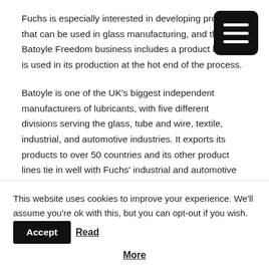Fuchs is especially interested in developing products that can be used in glass manufacturing, and the Batoyle Freedom business includes a product line that is used in its production at the hot end of the process.
Batoyle is one of the UK's biggest independent manufacturers of lubricants, with five different divisions serving the glass, tube and wire, textile, industrial, and automotive industries. It exports its products to over 50 countries and its other product lines tie in well with Fuchs' industrial and automotive divisions.
Fuchs is one of its highest quality products and...
This website uses cookies to improve your experience. We'll assume you're ok with this, but you can opt-out if you wish. Accept Read More